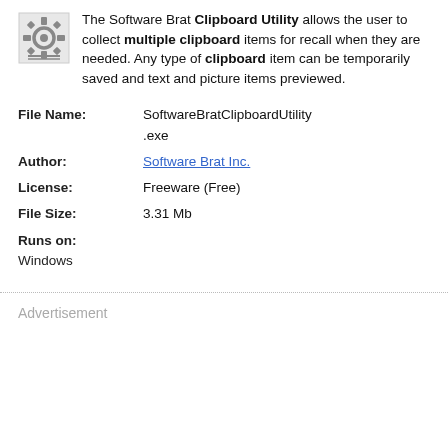The Software Brat Clipboard Utility allows the user to collect multiple clipboard items for recall when they are needed. Any type of clipboard item can be temporarily saved and text and picture items previewed.
| Field | Value |
| --- | --- |
| File Name: | SoftwareBratClipboardUtility.exe |
| Author: | Software Brat Inc. |
| License: | Freeware (Free) |
| File Size: | 3.31 Mb |
| Runs on: | Windows |
Advertisement
Day Clipboard Utility  v.2.4